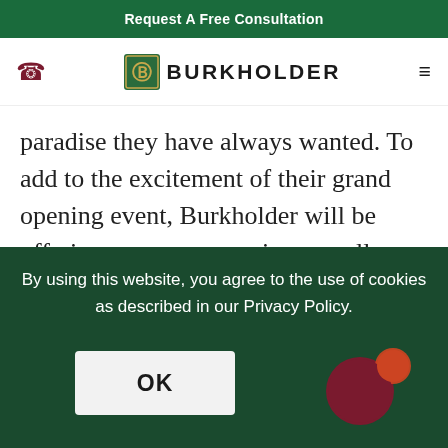Request A Free Consultation
[Figure (logo): Burkholder logo with phone icon and hamburger menu navigation bar]
paradise they have always wanted. To add to the excitement of their grand opening event, Burkholder will be offering pre-season savings on all furniture and garden accessories lines.
By using this website, you agree to the use of cookies as described in our Privacy Policy.
OK